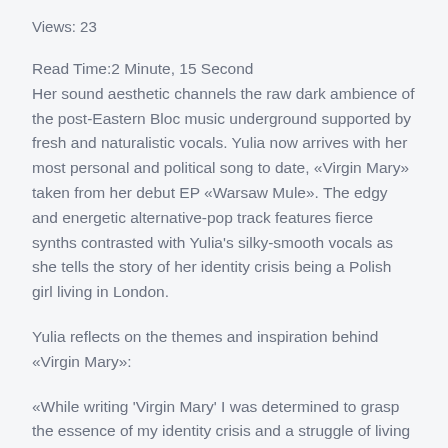Views: 23
Read Time:2 Minute, 15 Second
Her sound aesthetic channels the raw dark ambience of the post-Eastern Bloc music underground supported by fresh and naturalistic vocals. Yulia now arrives with her most personal and political song to date, «Virgin Mary» taken from her debut EP «Warsaw Mule». The edgy and energetic alternative-pop track features fierce synths contrasted with Yulia's silky-smooth vocals as she tells the story of her identity crisis being a Polish girl living in London.
Yulia reflects on the themes and inspiration behind «Virgin Mary»:
«While writing 'Virgin Mary' I was determined to grasp the essence of my identity crisis and a struggle of living a double life in Warsaw and London, while still being